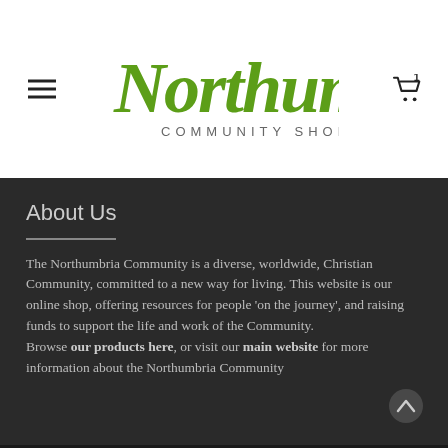[Figure (logo): Northumbria Community Shop logo with green italic script lettering and grey 'COMMUNITY SHOP' subtitle]
About Us
The Northumbria Community is a diverse, worldwide, Christian Community, committed to a new way for living. This website is our online shop, offering resources for people ‘on the journey’, and raising funds to support the life and work of the Community. Browse our products here, or visit our main website for more information about the Northumbria Community